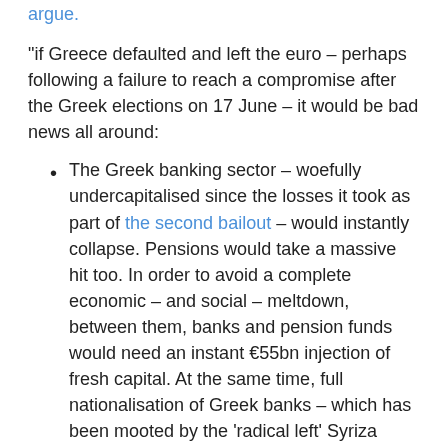argue.
"if Greece defaulted and left the euro – perhaps following a failure to reach a compromise after the Greek elections on 17 June – it would be bad news all around:
The Greek banking sector – woefully undercapitalised since the losses it took as part of the second bailout – would instantly collapse. Pensions would take a massive hit too. In order to avoid a complete economic – and social – meltdown, between them, banks and pension funds would need an instant €55bn injection of fresh capital. At the same time, full nationalisation of Greek banks – which has been mooted by the 'radical left' Syriza party – could prove pretty disastrous. The balance sheets of the six largest Greek banks are